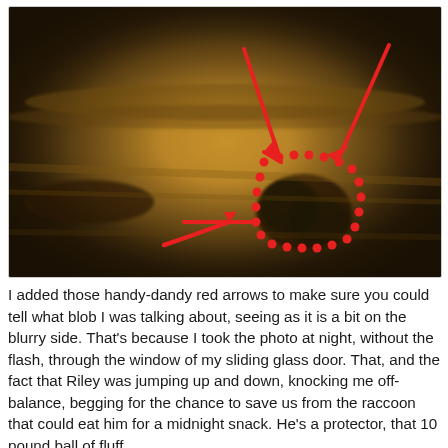[Figure (photo): A blurry, grainy night photo taken through a sliding glass door without flash, showing a dark blob (raccoon) on what appears to be an outdoor surface. Three red arrows point toward a circular dotted outline highlighting the raccoon blob. The overall image has a warm brownish-orange tone from the low-light conditions.]
I added those handy-dandy red arrows to make sure you could tell what blob I was talking about, seeing as it is a bit on the blurry side. That's because I took the photo at night, without the flash, through the window of my sliding glass door. That, and the fact that Riley was jumping up and down, knocking me off-balance, begging for the chance to save us from the raccoon that could eat him for a midnight snack. He's a protector, that 10 pound ball of fluff.